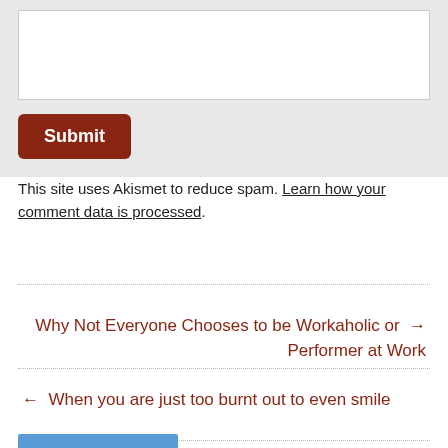[Figure (screenshot): Textarea form field (white box) inside a grey form area]
[Figure (screenshot): Dark red Submit button with white bold text]
This site uses Akismet to reduce spam. Learn how your comment data is processed.
Why Not Everyone Chooses to be Workaholic or Performer at Work →
← When you are just too burnt out to even smile